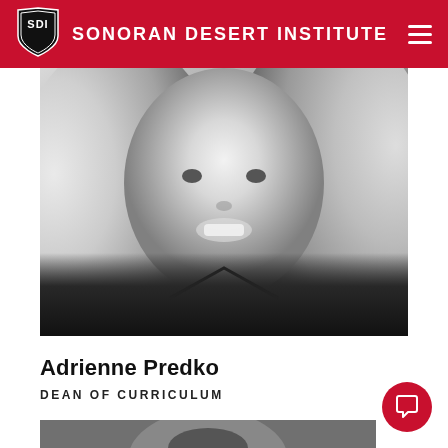SONORAN DESERT INSTITUTE
[Figure (photo): Black and white professional headshot of Adrienne Predko, a woman with shoulder-length wavy light hair, smiling, wearing dark clothing]
Adrienne Predko
DEAN OF CURRICULUM
[Figure (photo): Partially visible black and white photo of another person at the bottom of the page]